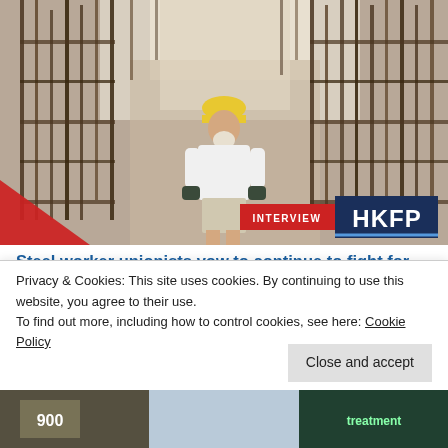[Figure (photo): A construction worker in a white polo shirt and yellow hard hat standing amid rusted steel rebar cage scaffolding at a construction site.]
Steel worker unionists vow to continue to fight for labour rights, despite the collapse of Hong Kong's civil society
[Figure (photo): Thumbnail strip of three partially visible images below the article title.]
Privacy & Cookies: This site uses cookies. By continuing to use this website, you agree to their use.
To find out more, including how to control cookies, see here: Cookie Policy
[Figure (photo): Bottom thumbnail strip of three partially visible images.]